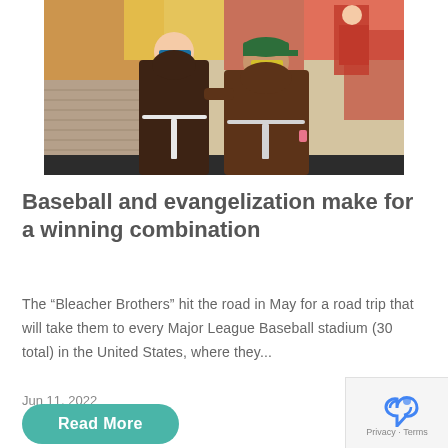[Figure (photo): Two men dressed in Franciscan friar brown robes with white rope belts, wearing sunglasses, standing in front of a colorful baseball mural.]
Baseball and evangelization make for a winning combination
The “Bleacher Brothers” hit the road in May for a road trip that will take them to every Major League Baseball stadium (30 total) in the United States, where they...
Jun 11, 2022